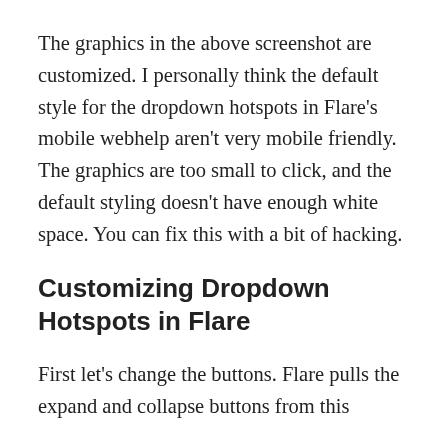The graphics in the above screenshot are customized. I personally think the default style for the dropdown hotspots in Flare's mobile webhelp aren't very mobile friendly. The graphics are too small to click, and the default styling doesn't have enough white space. You can fix this with a bit of hacking.
Customizing Dropdown Hotspots in Flare
First let's change the buttons. Flare pulls the expand and collapse buttons from this